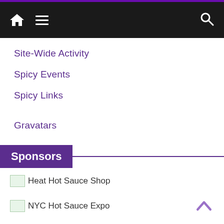Navigation bar with home, menu, and search icons
Site-Wide Activity
Spicy Events
Spicy Links
Gravatars
Sponsors
Heat Hot Sauce Shop
NYC Hot Sauce Expo
2016 Houston Hot Sauce Festival